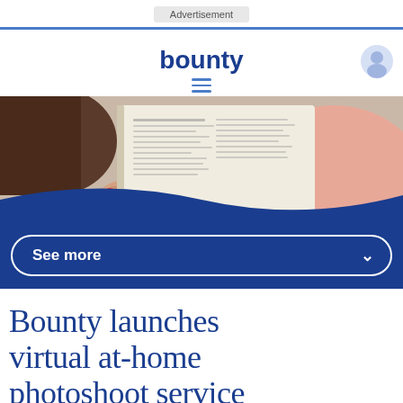Advertisement
[Figure (logo): Bounty website header with logo text 'bounty' in dark blue, hamburger menu icon, and user account icon]
[Figure (photo): Hero image showing a person in a pink top reading a magazine or book]
See more
Bounty launches virtual at-home photoshoot service